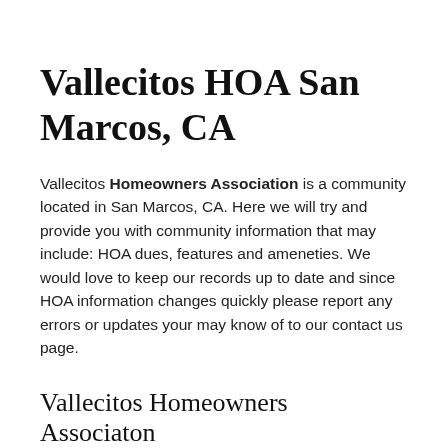Vallecitos HOA San Marcos, CA
Vallecitos Homeowners Association is a community located in San Marcos, CA. Here we will try and provide you with community information that may include: HOA dues, features and ameneties. We would love to keep our records up to date and since HOA information changes quickly please report any errors or updates your may know of to our contact us page.
Vallecitos Homeowners Associaton
$80 Monthly